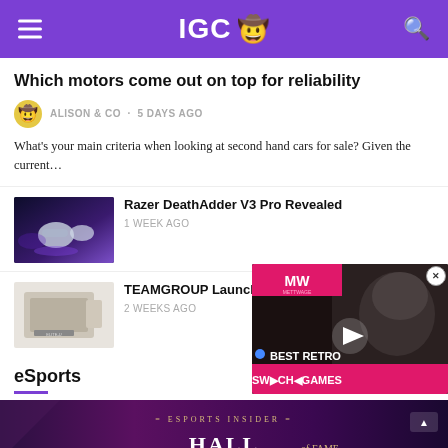IGC
Which motors come out on top for reliability
ALISON & CO · 5 DAYS AGO
What's your main criteria when looking at second hand cars for sale? Given the current…
[Figure (photo): Razer mouse product photo with purple lighting]
Razer DeathAdder V3 Pro Revealed
1 WEEK AGO
[Figure (photo): TEAMGROUP hardware product photo]
TEAMGROUP Launche…
2 WEEKS AGO
eSports
[Figure (screenshot): Video overlay thumbnail showing BEST RETRO SWITCH GAMES with animated character, MW logo]
[Figure (photo): eSports Insider Hall of Fame banner image with dark purple background]